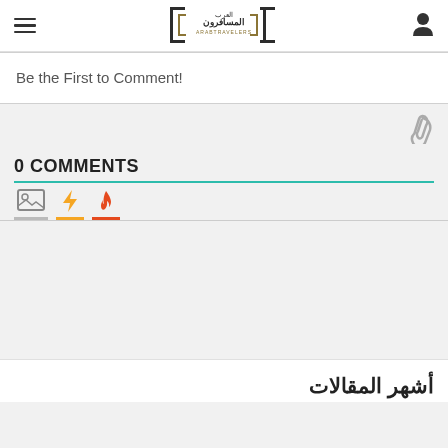ArabTravelers logo with hamburger menu and user icon
Be the First to Comment!
[Figure (other): Paperclip attachment icon]
0 COMMENTS
[Figure (other): Tab bar with image icon, lightning bolt icon (yellow), and flame icon (orange-red) with color underline indicators]
أشهر المقالات